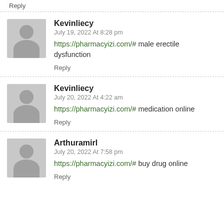Reply
Kevinliecy
July 19, 2022 At 8:28 pm
https://pharmacyizi.com/# male erectile dysfunction
Reply
Kevinliecy
July 20, 2022 At 4:22 am
https://pharmacyizi.com/# medication online
Reply
Arthuramirl
July 20, 2022 At 7:58 pm
https://pharmacyizi.com/# buy drug online
Reply